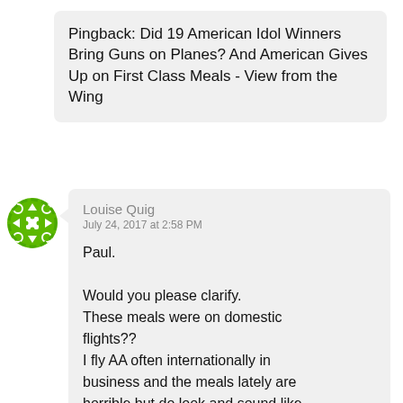Pingback: Did 19 American Idol Winners Bring Guns on Planes? And American Gives Up on First Class Meals - View from the Wing
Louise Quig
July 24, 2017 at 2:58 PM

Paul.
Would you please clarify.
These meals were on domestic flights??
I fly AA often internationally in business and the meals lately are horrible but do look and sound like what you've described
I'm not sure why they've gone away